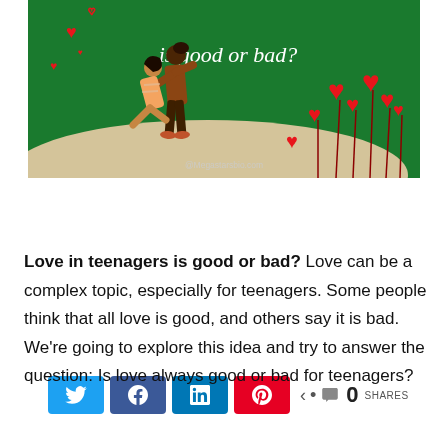[Figure (illustration): Illustrated image on green background showing two people embracing/dancing with red hearts, and heart-shaped flowers on the right. Text overlay reads 'is good or bad?' in white script. Watermark: @Megastarsbio.com]
Twitter share button, Facebook share button, LinkedIn share button, Pinterest share button, share icon with 0 SHARES
Love in teenagers is good or bad? Love can be a complex topic, especially for teenagers. Some people think that all love is good, and others say it is bad. We're going to explore this idea and try to answer the question: Is love always good or bad for teenagers?